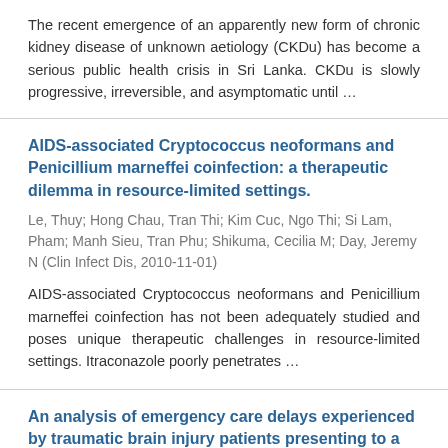The recent emergence of an apparently new form of chronic kidney disease of unknown aetiology (CKDu) has become a serious public health crisis in Sri Lanka. CKDu is slowly progressive, irreversible, and asymptomatic until …
AIDS-associated Cryptococcus neoformans and Penicillium marneffei coinfection: a therapeutic dilemma in resource-limited settings.
Le, Thuy; Hong Chau, Tran Thi; Kim Cuc, Ngo Thi; Si Lam, Pham; Manh Sieu, Tran Phu; Shikuma, Cecilia M; Day, Jeremy N (Clin Infect Dis, 2010-11-01)
AIDS&#x2010;associated Cryptococcus neoformans and Penicillium marneffei coinfection has not been adequately studied and poses unique therapeutic challenges in resource&#x2010;limited settings. Itraconazole poorly penetrates …
An analysis of emergency care delays experienced by traumatic brain injury patients presenting to a